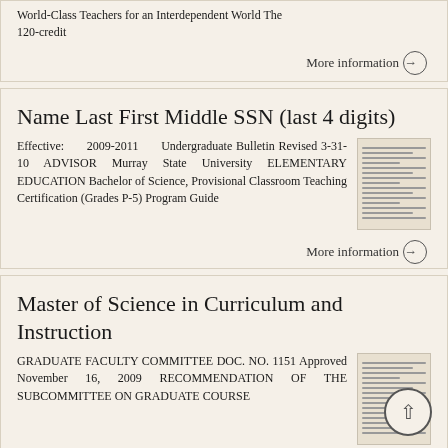World-Class Teachers for an Interdependent World The 120-credit
More information →
Name Last First Middle SSN (last 4 digits)
Effective: 2009-2011 Undergraduate Bulletin Revised 3-31-10 ADVISOR Murray State University ELEMENTARY EDUCATION Bachelor of Science, Provisional Classroom Teaching Certification (Grades P-5) Program Guide
More information →
Master of Science in Curriculum and Instruction
GRADUATE FACULTY COMMITTEE DOC. NO. 1151 Approved November 16, 2009 RECOMMENDATION OF THE SUBCOMMITTEE ON GRADUATE COURSE